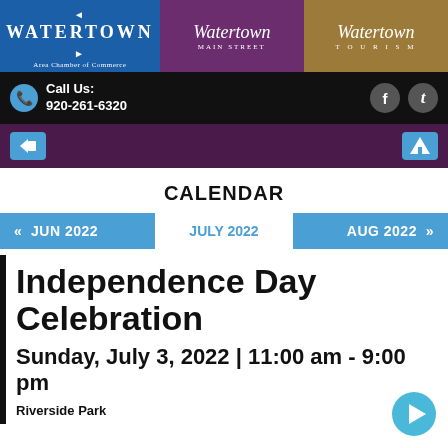[Figure (logo): Watertown Chamber of Commerce logo (blue background)]
[Figure (logo): Watertown Main Street logo (purple background)]
[Figure (logo): Watertown Tourism logo (brown/gold background)]
Call Us: 920-261-6320
CALENDAR
JULY 2022
« JUN 2022
AUG 2022 »
Independence Day Celebration
Sunday, July 3, 2022 | 11:00 am - 9:00 pm
Riverside Park